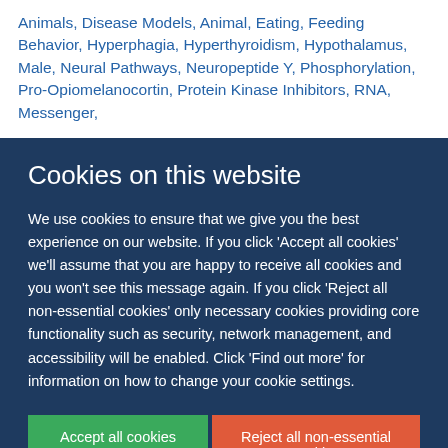Animals, Disease Models, Animal, Eating, Feeding Behavior, Hyperphagia, Hyperthyroidism, Hypothalamus, Male, Neural Pathways, Neuropeptide Y, Phosphorylation, Pro-Opiomelanocortin, Protein Kinase Inhibitors, RNA, Messenger,
Cookies on this website
We use cookies to ensure that we give you the best experience on our website. If you click 'Accept all cookies' we'll assume that you are happy to receive all cookies and you won't see this message again. If you click 'Reject all non-essential cookies' only necessary cookies providing core functionality such as security, network management, and accessibility will be enabled. Click 'Find out more' for information on how to change your cookie settings.
Accept all cookies
Reject all non-essential cookies
Find out more